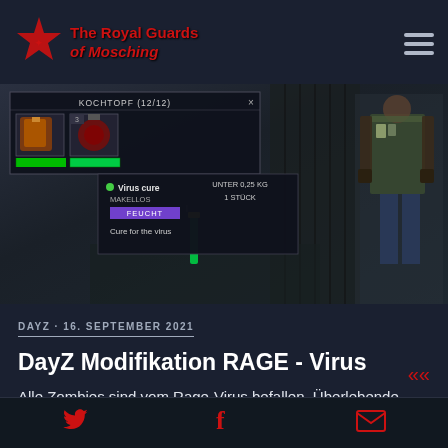The Royal Guards of Mosching
[Figure (screenshot): DayZ game screenshot showing inventory UI with KOCHTOPF (12/12) panel, items including Virus cure MAKELLOS, tooltip showing FEUCHT and 'Cure for the virus', UNTER 0,25 KG 1 STÜCK info, and character model on right side]
DAYZ · 16. SEPTEMBER 2021
DayZ Modifikation RAGE - Virus
Alle Zombies sind vom Rage-Virus befallen. Überlebende können sich an Zombies und bereits infizierten Mitspielern…